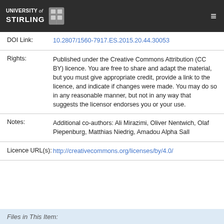UNIVERSITY of STIRLING
| Field | Value |
| --- | --- |
| DOI Link: | 10.2807/1560-7917.ES.2015.20.44.30053 |
| Rights: | Published under the Creative Commons Attribution (CC BY) licence. You are free to share and adapt the material, but you must give appropriate credit, provide a link to the licence, and indicate if changes were made. You may do so in any reasonable manner, but not in any way that suggests the licensor endorses you or your use. |
| Notes: | Additional co-authors: Ali Mirazimi, Oliver Nentwich, Olaf Piepenburg, Matthias Niedrig, Amadou Alpha Sall |
| Licence URL(s): | http://creativecommons.org/licenses/by/4.0/ |
Files in This Item: